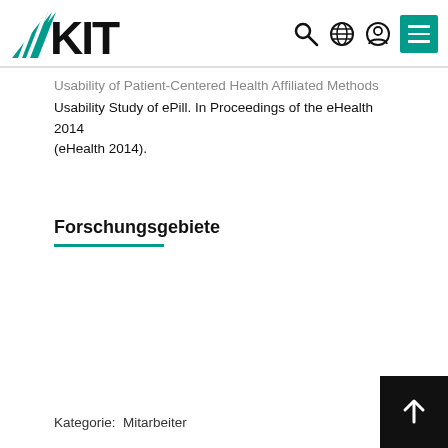KIT — Karlsruher Institut für Technologie
Usability of Patient-Centered Health Affiliated Methods Usability Study of ePill. In Proceedings of the eHealth 2014 (eHealth 2014).
Forschungsgebiete
Kategorie: Mitarbeiter